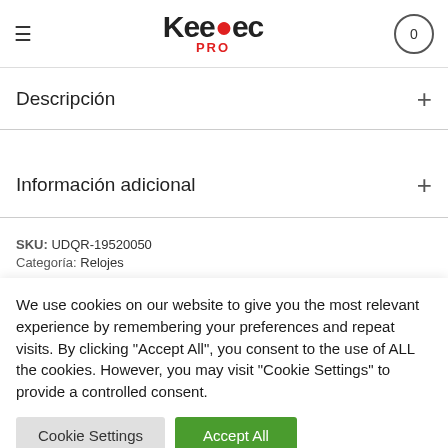[Figure (logo): Keedec PRO logo with red dot on letter 'd']
Descripción
Información adicional
SKU: UDQR-19520050
Categoría: Relojes
We use cookies on our website to give you the most relevant experience by remembering your preferences and repeat visits. By clicking "Accept All", you consent to the use of ALL the cookies. However, you may visit "Cookie Settings" to provide a controlled consent.